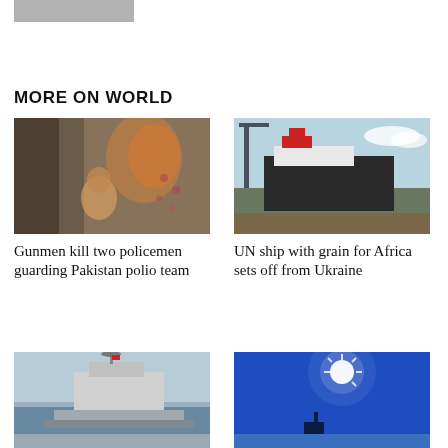[Figure (photo): Partial view of a gray image placeholder at the top left]
MORE ON WORLD
[Figure (photo): A woman in a colorful sari administering polio vaccine drops to a young child near a wooden doorway in Pakistan]
Gunmen kill two policemen guarding Pakistan polio team
[Figure (photo): A large cargo ship docked at a port, with cranes and industrial equipment visible, under a partly cloudy sky]
UN ship with grain for Africa sets off from Ukraine
[Figure (photo): A naval vessel with radar equipment visible, photographed from a low angle]
[Figure (photo): Bright sunlight against a deep blue sky with a silhouette visible at the bottom]